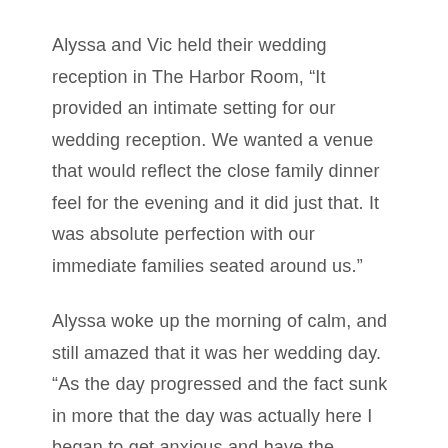Alyssa and Vic held their wedding reception in The Harbor Room, “It provided an intimate setting for our wedding reception. We wanted a venue that would reflect the close family dinner feel for the evening and it did just that. It was absolute perfection with our immediate families seated around us.”
Alyssa woke up the morning of calm, and still amazed that it was her wedding day. “As the day progressed and the fact sunk in more that the day was actually here I began to get anxious and have the shakes. However, as soon as I saw Vic for the first time it all went away because no matter